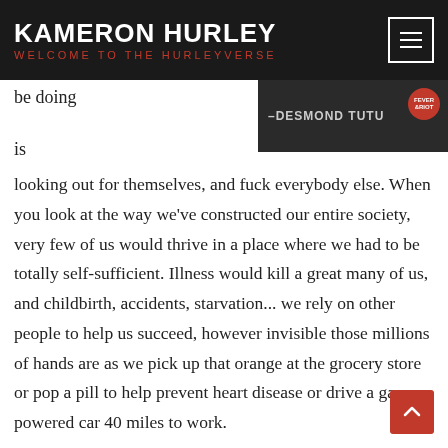KAMERON HURLEY WELCOME TO THE HURLEYVERSE
[Figure (photo): Dark background image with attribution text '–DESMOND TUTU' and a red circular logo in the top right corner]
be doing

is
looking out for themselves, and fuck everybody else. When you look at the way we've constructed our entire society, very few of us would thrive in a place where we had to be totally self-sufficient. Illness would kill a great many of us, and childbirth, accidents, starvation... we rely on other people to help us succeed, however invisible those millions of hands are as we pick up that orange at the grocery store or pop a pill to help prevent heart disease or drive a gas-powered car 40 miles to work.